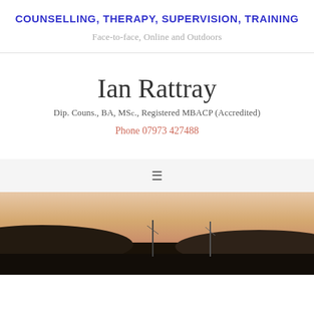COUNSELLING, THERAPY, SUPERVISION, TRAINING
Face-to-face, Online and Outdoors
Ian Rattray
Dip. Couns., BA, MSc., Registered MBACP (Accredited)
Phone 07973 427488
[Figure (photo): Sunset/dusk landscape photo showing silhouetted hills and boat masts against an orange-golden sky]